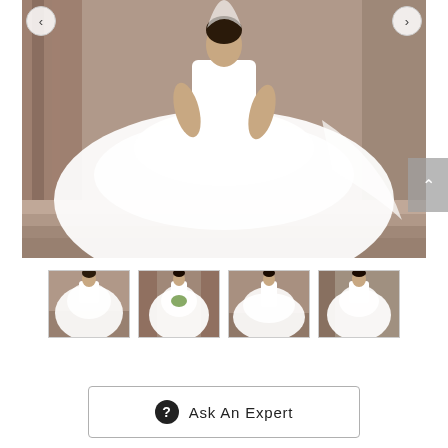[Figure (photo): Main large product photo of a white tiered tulle ball gown wedding dress worn by a model on stone steps, with navigation arrows on left and right, and a scroll-up button on the right edge]
[Figure (photo): Thumbnail 1: front view of model in white ball gown wedding dress]
[Figure (photo): Thumbnail 2: model in white ball gown with bouquet in front of ornate stone columns]
[Figure (photo): Thumbnail 3: back view of model in white tiered ball gown on stone steps]
[Figure (photo): Thumbnail 4: close-up front view of model in white strapless ball gown]
Ask An Expert